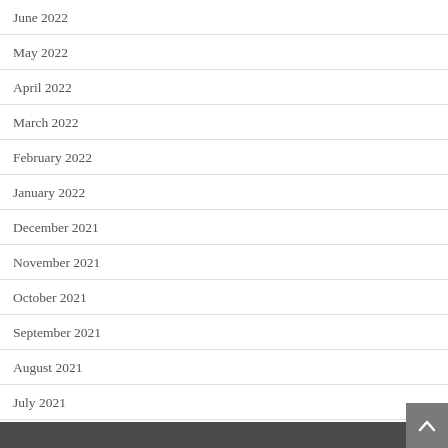June 2022
May 2022
April 2022
March 2022
February 2022
January 2022
December 2021
November 2021
October 2021
September 2021
August 2021
July 2021
January 2021